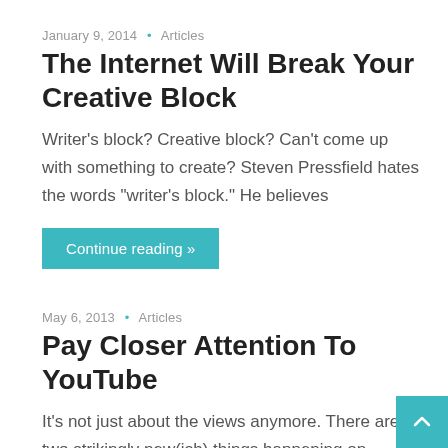January 9, 2014 • Articles
The Internet Will Break Your Creative Block
Writer's block? Creative block? Can't come up with something to create? Steven Pressfield hates the words "writer's block." He believes
Continue reading »
May 6, 2013 • Articles
Pay Closer Attention To YouTube
It's not just about the views anymore. There are two strikingly new(ish) things happening on YouTube t…